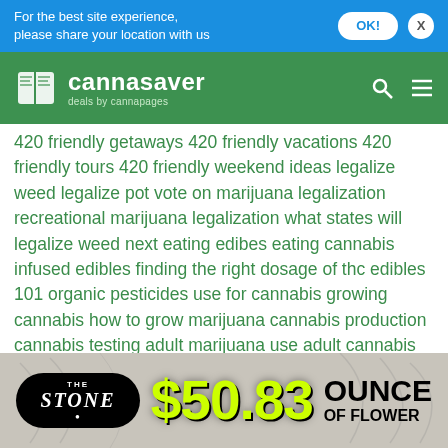For the best site experience, please share your location with us
[Figure (logo): Cannasaver logo with book icon and tagline 'deals by cannapages' on green banner background]
420 friendly getaways 420 friendly vacations 420 friendly tours 420 friendly weekend ideas legalize weed legalize pot vote on marijuana legalization recreational marijuana legalization what states will legalize weed next eating edibes eating cannabis infused edibles finding the right dosage of thc edibles 101 organic pesticides use for cannabis growing cannabis how to grow marijuana cannabis production cannabis testing adult marijuana use adult cannabis use marijuana use by adults marijuana use statistics increase in marijuana use marijuana legalization pros and cons marijuana legalization debate marijuana debate drug legalization debate cbd vs. thc differences between cbd and thc cannabidiol cannabis sativa plant best ounce deals in denver cheapest dispensaries in
[Figure (infographic): The Stone dispensary ad banner showing logo in black oval, price $50.83 in yellow-green text, and 'OUNCE OF FLOWER' in black bold text on a textured background]